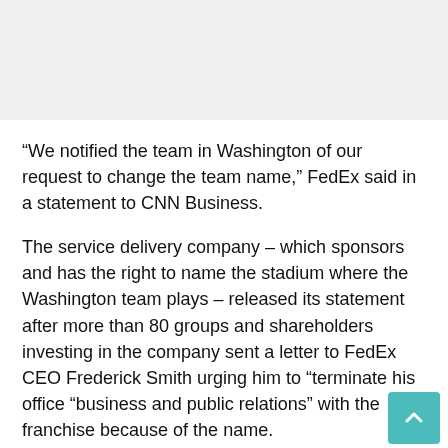[Figure (other): Gray banner/ad placeholder area at top of page]
“We notified the team in Washington of our request to change the team name,” FedEx said in a statement to CNN Business.
The service delivery company – which sponsors and has the right to name the stadium where the Washington team plays – released its statement after more than 80 groups and shareholders investing in the company sent a letter to FedEx CEO Frederick Smith urging him to “terminate his office “business and public relations” with the franchise because of the name.
Investors sent similar letters to the directors of the Company Nike (NKE), which makes red leather uniforms